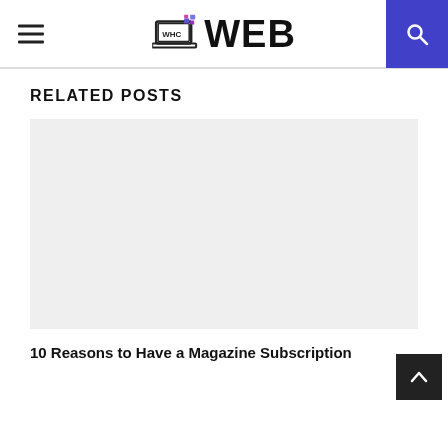WHC WEB
RELATED POSTS
[Figure (photo): Light gray placeholder image for a related post thumbnail]
10 Reasons to Have a Magazine Subscription